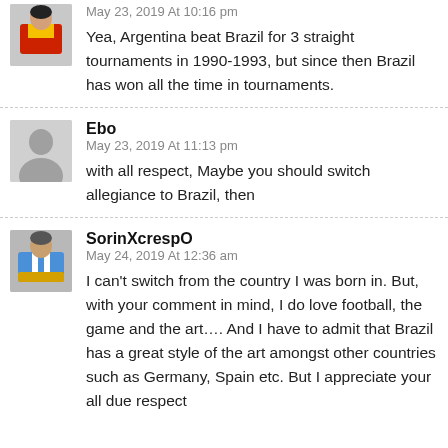[Figure (photo): Small avatar photo of a soccer player in red/yellow jersey]
May 23, 2019 At 10:16 pm
Yea, Argentina beat Brazil for 3 straight tournaments in 1990-1993, but since then Brazil has won all the time in tournaments.
[Figure (illustration): Gray silhouette avatar placeholder for Ebo]
Ebo
May 23, 2019 At 11:13 pm
with all respect, Maybe you should switch allegiance to Brazil, then
[Figure (photo): Small avatar photo of a soccer player for SorinXcrespO]
SorinXcrespO
May 24, 2019 At 12:36 am
I can't switch from the country I was born in. But, with your comment in mind, I do love football, the game and the art.... And I have to admit that Brazil has a great style of the art amongst other countries such as Germany, Spain etc. But I appreciate your all due respect